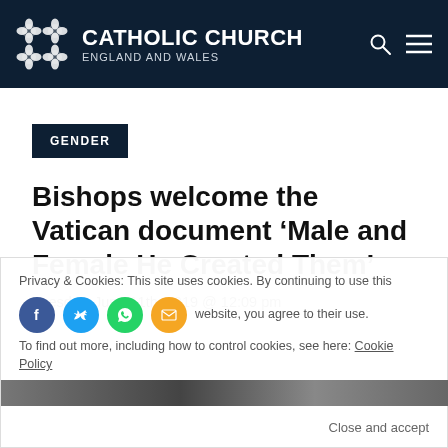CATHOLIC CHURCH ENGLAND AND WALES
GENDER
Bishops welcome the Vatican document ‘Male and Female He Created Them’
Tuesday, June 11th, 2019 @ 12:09 pm
Privacy & Cookies: This site uses cookies. By continuing to use this website, you agree to their use. To find out more, including how to control cookies, see here: Cookie Policy
Close and accept